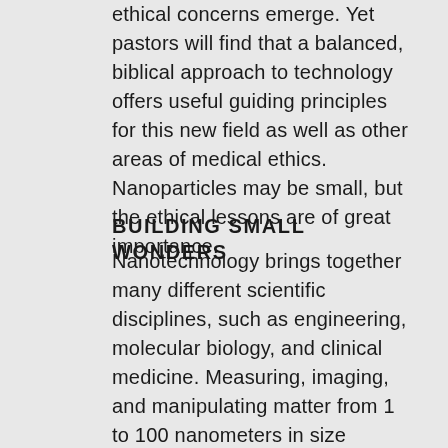ethical concerns emerge. Yet pastors will find that a balanced, biblical approach to technology offers useful guiding principles for this new field as well as other areas of medical ethics. Nanoparticles may be small, but the ethical lessons are of great importance.
BUILDING SMALL WONDERS
Nanotechnology brings together many different scientific disciplines, such as engineering, molecular biology, and clinical medicine. Measuring, imaging, and manipulating matter from 1 to 100 nanometers in size requires interdisciplinary collaboration. While nanotechnology is changing many fields, including electronics, information technology, and materials science, some of the most amazing